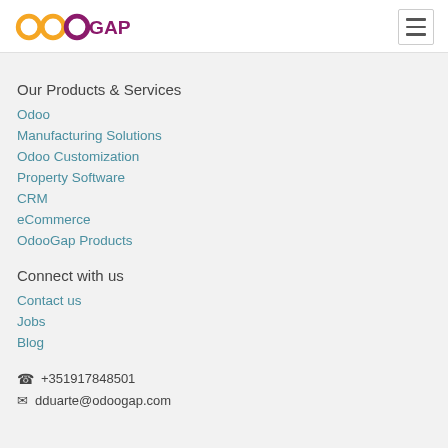OdooGap logo and navigation toggle
Our Products & Services
Odoo
Manufacturing Solutions
Odoo Customization
Property Software
CRM
eCommerce
OdooGap Products
Connect with us
Contact us
Jobs
Blog
☎ +351917848501
✉ dduarte@odoogap.com